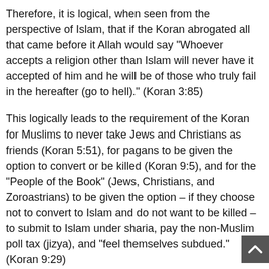Therefore, it is logical, when seen from the perspective of Islam, that if the Koran abrogated all that came before it Allah would say "Whoever accepts a religion other than Islam will never have it accepted of him and he will be of those who truly fail in the hereafter (go to hell)." (Koran 3:85)
This logically leads to the requirement of the Koran for Muslims to never take Jews and Christians as friends (Koran 5:51), for pagans to be given the option to convert or be killed (Koran 9:5), and for the "People of the Book" (Jews, Christians, and Zoroastrians) to be given the option – if they choose not to convert to Islam and do not want to be killed – to submit to Islam under sharia, pay the non-Muslim poll tax (jizya), and "feel themselves subdued." (Koran 9:29)
Islamic scholars have come to an agreement on the chronological order of the suras.  While there are slight differences in some of the listings, Sura 5 is always the last sura (chronologically) to discuss relations between Muslims and non-Muslims, and Sura 9 is the last to discuss